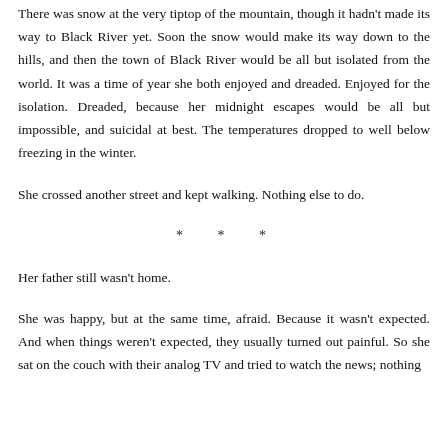There was snow at the very tiptop of the mountain, though it hadn't made its way to Black River yet. Soon the snow would make its way down to the hills, and then the town of Black River would be all but isolated from the world. It was a time of year she both enjoyed and dreaded. Enjoyed for the isolation. Dreaded, because her midnight escapes would be all but impossible, and suicidal at best. The temperatures dropped to well below freezing in the winter.
She crossed another street and kept walking. Nothing else to do.
* * *
Her father still wasn't home.
She was happy, but at the same time, afraid. Because it wasn't expected. And when things weren't expected, they usually turned out painful. So she sat on the couch with their analog TV and tried to watch the news; nothing